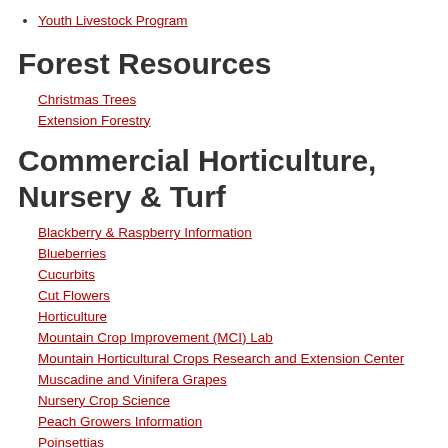Youth Livestock Program
Forest Resources
Christmas Trees
Extension Forestry
Commercial Horticulture, Nursery & Turf
Blackberry & Raspberry Information
Blueberries
Cucurbits
Cut Flowers
Horticulture
Mountain Crop Improvement (MCI) Lab
Mountain Horticultural Crops Research and Extension Center
Muscadine and Vinifera Grapes
Nursery Crop Science
Peach Growers Information
Poinsettias
Southern Appalachian Apples
Strawberry Growers Information